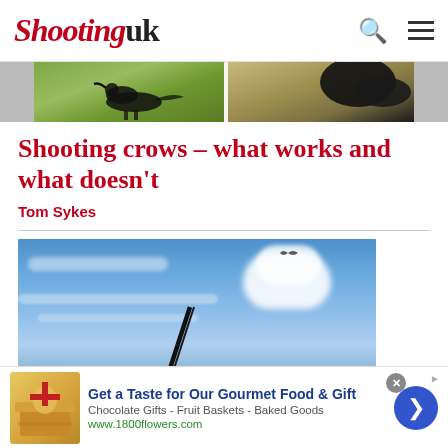Shooting uk
[Figure (photo): Two cropped photos side by side showing crows in a field/grass setting]
Shooting crows – what works and what doesn't
Tom Sykes
[Figure (photo): Blue sky with wispy clouds and a gun barrel visible at the bottom, a bird silhouette in the upper portion]
Get a Taste for Our Gourmet Food & Gift
Chocolate Gifts - Fruit Baskets - Baked Goods
www.1800flowers.com